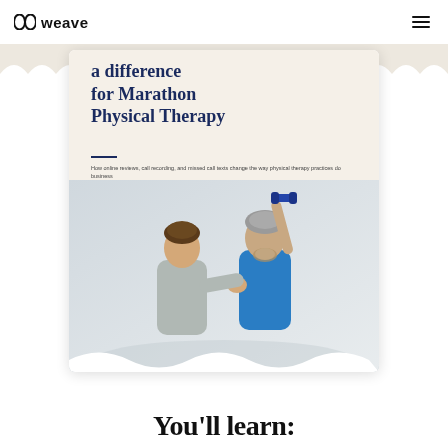weave
[Figure (photo): A marketing brochure/case study cover for Weave featuring a physical therapist helping an older male patient raise a dumbbell. The cover heading reads 'a difference for Marathon Physical Therapy' with subtitle 'How online reviews, call recording, and missed call texts change the way physical therapy practices do business']
You'll learn: